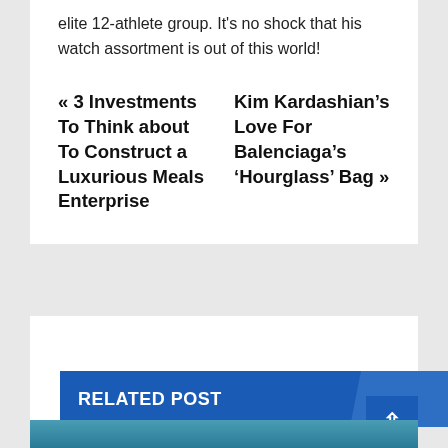elite 12-athlete group. It's no shock that his watch assortment is out of this world!
« 3 Investments To Think about To Construct a Luxurious Meals Enterprise
Kim Kardashian's Love For Balenciaga's 'Hourglass' Bag »
RELATED POST